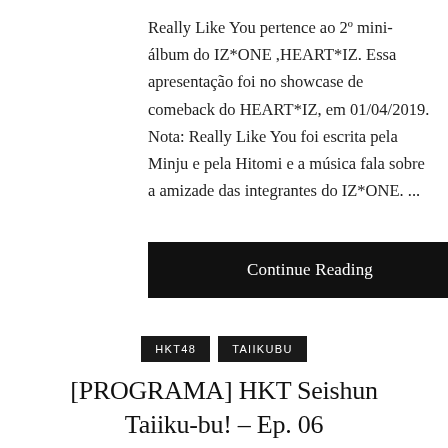Really Like You pertence ao 2º mini-álbum do IZ*ONE ,HEART*IZ. Essa apresentação foi no showcase de comeback do HEART*IZ, em 01/04/2019. Nota: Really Like You foi escrita pela Minju e pela Hitomi e a música fala sobre a amizade das integrantes do IZ*ONE. ...
Continue Reading
HKT48
TAIIKUBU
[PROGRAMA] HKT Seishun Taiiku-bu! - Ep. 06